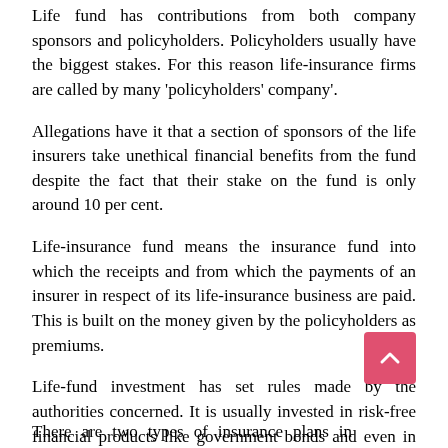Life fund has contributions from both company sponsors and policyholders. Policyholders usually have the biggest stakes. For this reason life-insurance firms are called by many 'policyholders' company'.
Allegations have it that a section of sponsors of the life insurers take unethical financial benefits from the fund despite the fact that their stake on the fund is only around 10 per cent.
Life-insurance fund means the insurance fund into which the receipts and from which the payments of an insurer in respect of its life-insurance business are paid. This is built on the money given by the policyholders as premiums.
Life-fund investment has set rules made by the authorities concerned. It is usually invested in risk-free financial products like government bonds and even in assets such as real estates.
There are two types of insurance plans in Bangladesh